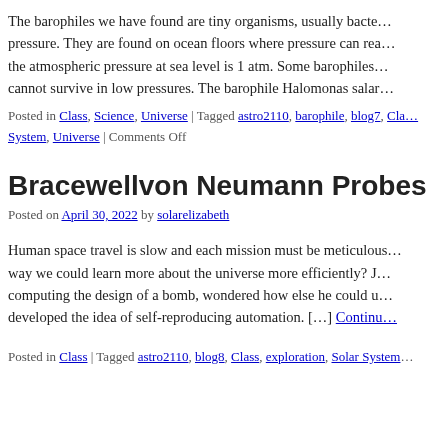The barophiles we have found are tiny organisms, usually bacteria that thrive under high pressure. They are found on ocean floors where pressure can reach up to 1000 atm, while the atmospheric pressure at sea level is 1 atm. Some barophiles are obligate, meaning they cannot survive in low pressures. The barophile Halomonas salar…
Posted in Class, Science, Universe | Tagged astro2110, barophile, blog7, Cla… System, Universe | Comments Off
Bracewellvon Neumann Probes
Posted on April 30, 2022 by solarelizabeth
Human space travel is slow and each mission must be meticulously planned. Is there a way we could learn more about the universe more efficiently? J… computing the design of a bomb, wondered how else he could u… developed the idea of self-reproducing automation. […] Continue…
Posted in Class | Tagged astro2110, blog8, Class, exploration, Solar System,